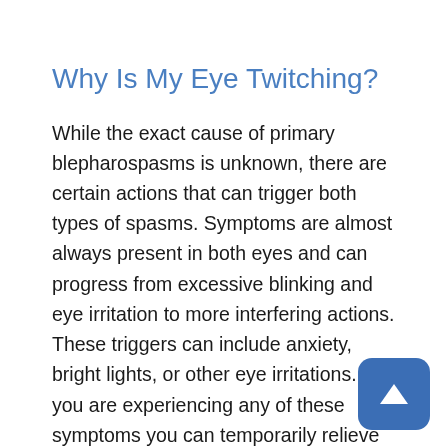Why Is My Eye Twitching?
While the exact cause of primary blepharospasms is unknown, there are certain actions that can trigger both types of spasms. Symptoms are almost always present in both eyes and can progress from excessive blinking and eye irritation to more interfering actions. These triggers can include anxiety, bright lights, or other eye irritations. If you are experiencing any of these symptoms you can temporarily relieve the spasm by looking down, lifting a trigger point such as an eyebrow, whistling, singing, or humming.